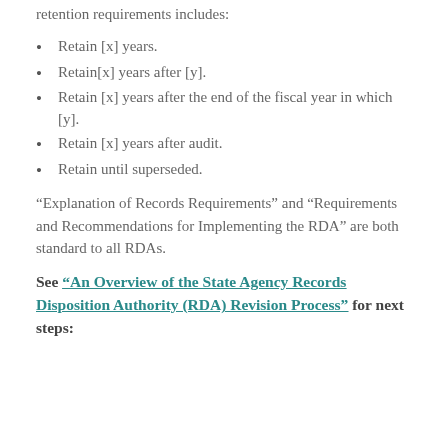retention requirements includes:
Retain [x] years.
Retain[x] years after [y].
Retain [x] years after the end of the fiscal year in which [y].
Retain [x] years after audit.
Retain until superseded.
“Explanation of Records Requirements” and “Requirements and Recommendations for Implementing the RDA” are both standard to all RDAs.
See “An Overview of the State Agency Records Disposition Authority (RDA) Revision Process” for next steps: